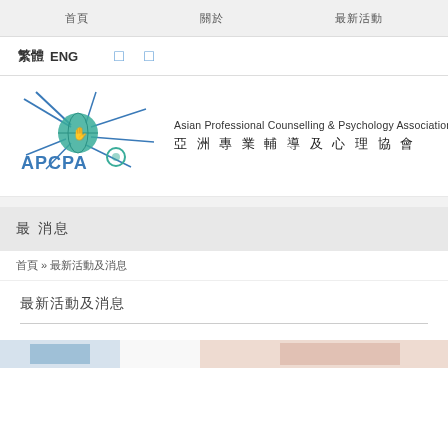首頁   關於   最新活動
繁體  ENG
[Figure (logo): APCPA logo with teal hand/globe icon and radiating lines, with text APCPA, Asian Professional Counselling & Psychology Association, 亞洲專業輔導及心理協會]
最 新消息
首頁 » 最新活動及消息
最新活動及消息
[Figure (photo): Partial image visible at bottom of page showing blue and skin-tone colored elements]